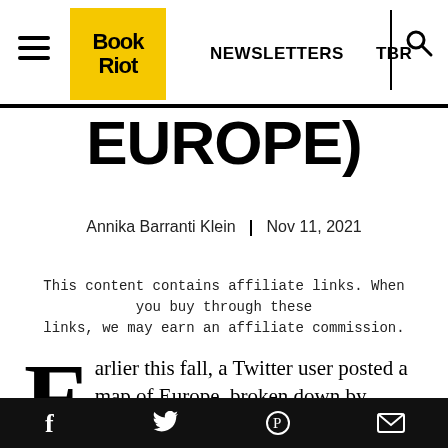Book Riot | NEWSLETTERS  TBR
EUROPE)
Annika Barranti Klein  |  Nov 11, 2021
This content contains affiliate links. When you buy through these links, we may earn an affiliate commission.
Earlier this fall, a Twitter user posted a map of Europe, broken down by whether vampires, werewolves, or both were the prominent
f  Twitter  Pinterest  Mail